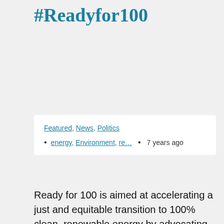#Readyfor100
Featured, News, Politics
energy, Environment, re… • 7 years ago
Ready for 100 is aimed at accelerating a just and equitable transition to 100% clean, renewable energy by advocating for ambitious leadership at the local level and amplifying progress to make 100% clean energy “the new normal”. Sierra Club